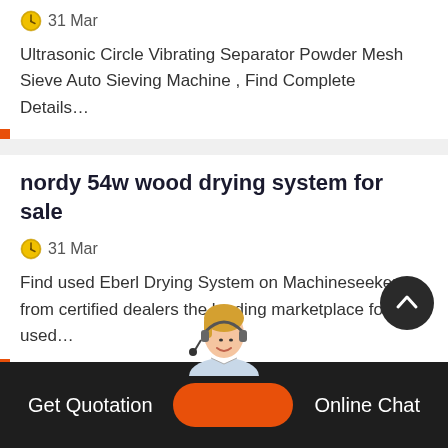31 Mar
Ultrasonic Circle Vibrating Separator Powder Mesh Sieve Auto Sieving Machine , Find Complete Details…
nordy 54w wood drying system for sale
31 Mar
Find used Eberl Drying System on Machineseeker from certified dealers the leading marketplace for used…
how much is a machine for sand machine
Get Quotation
Online Chat